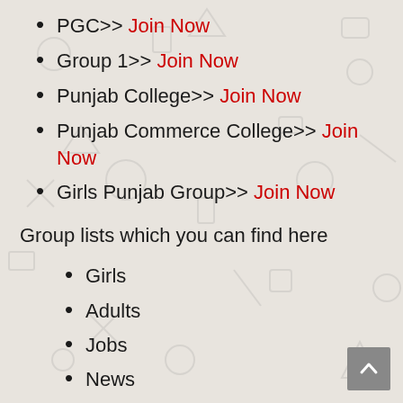PGC>> Join Now
Group 1>> Join Now
Punjab College>> Join Now
Punjab Commerce College>> Join Now
Girls Punjab Group>> Join Now
Group lists which you can find here
Girls
Adults
Jobs
News
USA
Canada
UK
Pakistani
Indian
Game...